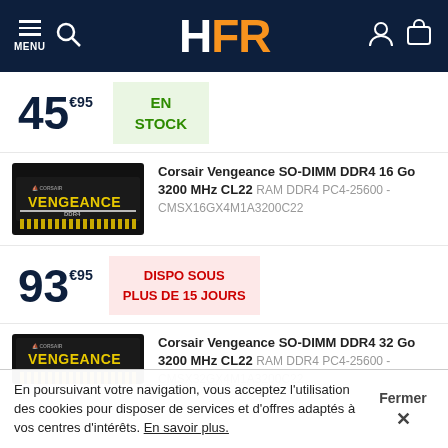HFR - Menu, Search, Account, Cart
45€95  EN STOCK
Corsair Vengeance SO-DIMM DDR4 16 Go 3200 MHz CL22  RAM DDR4 PC4-25600 - CMSX16GX4M1A3200C22
[Figure (photo): Corsair Vengeance DDR4 SO-DIMM RAM stick, black PCB with yellow VENGEANCE logo]
93€95  DISPO SOUS PLUS DE 15 JOURS
Corsair Vengeance SO-DIMM DDR4 32 Go 3200 MHz CL22  RAM DDR4 PC4-25600 - CMSX32GX4M1A3200C22
[Figure (photo): Corsair Vengeance DDR4 SO-DIMM RAM stick, black PCB with yellow VENGEANCE logo (partial view)]
En poursuivant votre navigation, vous acceptez l'utilisation des cookies pour disposer de services et d'offres adaptés à vos centres d'intérêts. En savoir plus. Fermer ×